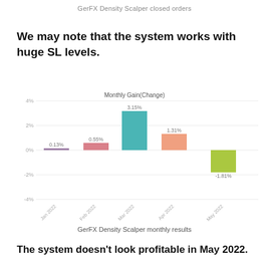GerFX Density Scalper closed orders
We may note that the system works with huge SL levels.
[Figure (bar-chart): Monthly Gain(Change)]
GerFX Density Scalper monthly results
The system doesn't look profitable in May 2022.